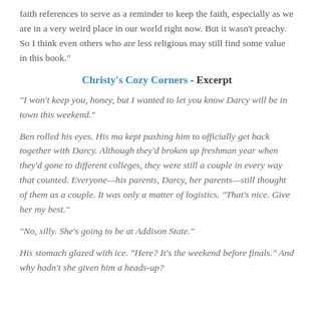faith references to serve as a reminder to keep the faith, especially as we are in a very weird place in our world right now. But it wasn't preachy. So I think even others who are less religious may still find some value in this book."
Christy's Cozy Corners - Excerpt
“I won’t keep you, honey, but I wanted to let you know Darcy will be in town this weekend.”
Ben rolled his eyes. His ma kept pushing him to officially get back together with Darcy. Although they’d broken up freshman year when they’d gone to different colleges, they were still a couple in every way that counted. Everyone—his parents, Darcy, her parents—still thought of them as a couple. It was only a matter of logistics. “That’s nice. Give her my best.”
“No, silly. She’s going to be at Addison State.”
His stomach glazed with ice. “Here? It’s the weekend before finals.” And why hadn’t she given him a heads-up?